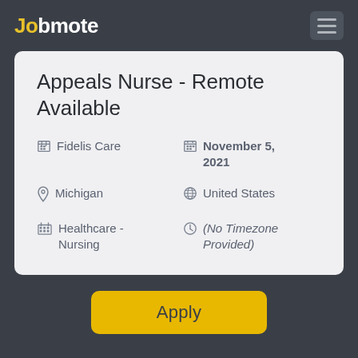Jobmote
Appeals Nurse - Remote Available
Fidelis Care
November 5, 2021
Michigan
United States
Healthcare - Nursing
(No Timezone Provided)
Apply